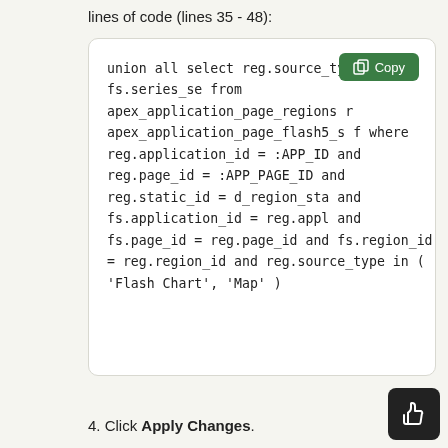lines of code (lines 35 - 48):
[Figure (screenshot): Code block showing SQL snippet with union all, select, from, where clauses with a green Copy button in the top right corner]
4. Click Apply Changes.